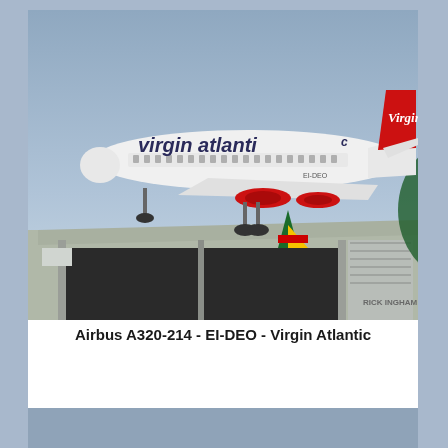[Figure (photo): A Virgin Atlantic Airbus A320-214 with registration EI-DEO in flight, showing red tail with 'Virgin' branding, white fuselage with 'virgin atlantic' livery, landing gear extended, with an airport hangar visible below. A RICK INGHAM watermark is visible.]
Airbus A320-214 - EI-DEO - Virgin Atlantic